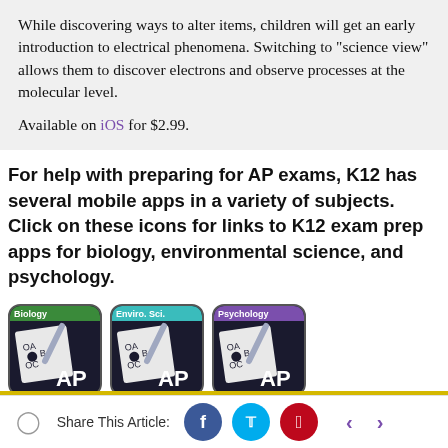While discovering ways to alter items, children will get an early introduction to electrical phenomena. Switching to "science view" allows them to discover electrons and observe processes at the molecular level.

Available on iOS for $2.99.
For help with preparing for AP exams, K12 has several mobile apps in a variety of subjects. Click on these icons for links to K12 exam prep apps for biology, environmental science, and psychology.
[Figure (illustration): Three app icons side by side: Biology AP, Enviro. Sci. AP, and Psychology AP exam prep apps. Each has a dark background with a multiple choice answer sheet and pencil graphic, with colored labels (green for Biology, teal for Enviro. Sci., purple for Psychology).]
Share This Article: [Facebook] [Twitter] [Pinterest] < >